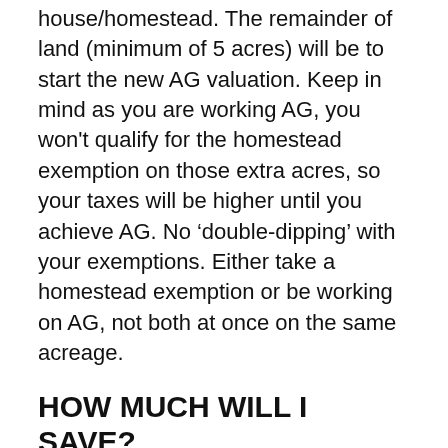house/homestead. The remainder of land (minimum of 5 acres) will be to start the new AG valuation. Keep in mind as you are working AG, you won't qualify for the homestead exemption on those extra acres, so your taxes will be higher until you achieve AG. No 'double-dipping' with your exemptions. Either take a homestead exemption or be working on AG, not both at once on the same acreage.
HOW MUCH WILL I SAVE?
The Ag valuation savings number is different for everyone depending on what county you are in and how many acres you have and your land values, of course. BUT, if you have HIGH property taxes now, you will likely be VERY pleased with the new valuation. Counties we have worked with